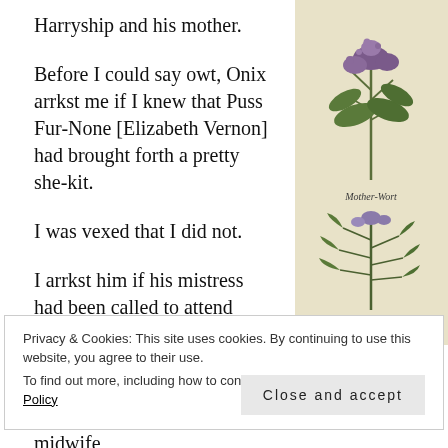Harryship and his mother.
Before I could say owt, Onix arrkst me if I knew that Puss Fur-None [Elizabeth Vernon] had brought forth a pretty she-kit.
I was vexed that I did not.
I arrkst him if his mistress had been called to attend upon her.
[Figure (illustration): Vertical botanical illustration strip showing herbs including Mother-wort and May-wort with purple flowers and green leaves on a yellowed background]
Privacy & Cookies: This site uses cookies. By continuing to use this website, you agree to their use.
To find out more, including how to control cookies, see here: Cookie Policy
Close and accept
midwife